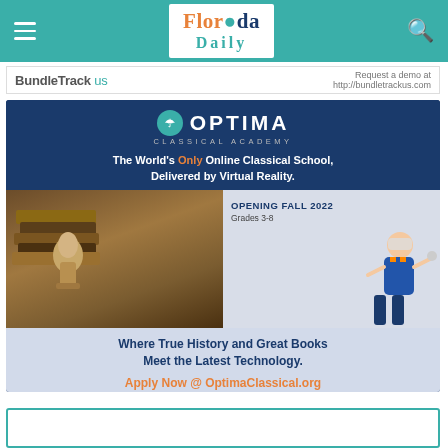Florida Daily - navigation bar
[Figure (other): BundleTrack US advertisement banner with URL http://bundletrackus.com]
[Figure (other): Optima Classical Academy advertisement. Text: OPTIMA CLASSICAL ACADEMY - The World's Only Online Classical School, Delivered by Virtual Reality. OPENING FALL 2022 Grades 3-8. Where True History and Great Books Meet the Latest Technology. Apply Now @ OptimaClassical.org]
[Figure (other): Partial bottom card/advertisement, teal border visible at bottom of page]